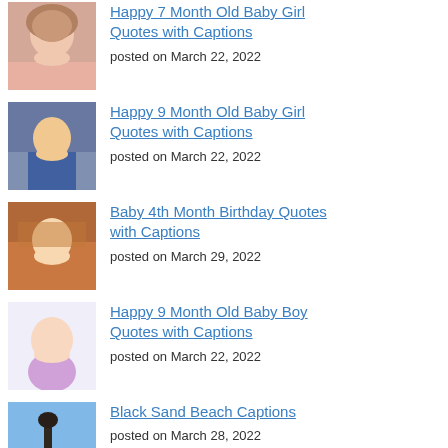Happy 7 Month Old Baby Girl Quotes with Captions
posted on March 22, 2022
Happy 9 Month Old Baby Girl Quotes with Captions
posted on March 22, 2022
Baby 4th Month Birthday Quotes with Captions
posted on March 29, 2022
Happy 9 Month Old Baby Boy Quotes with Captions
posted on March 22, 2022
Black Sand Beach Captions
posted on March 28, 2022
Heartwarming Thank You Letter to Coach from Parents